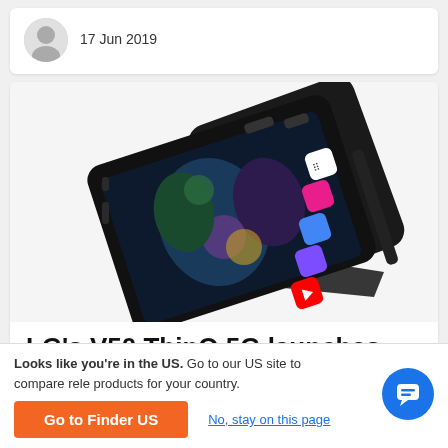17 Jun 2019
[Figure (photo): LG V50 ThinQ 5G smartphone in a dual-screen case, propped up at an angle showing the display with app icons and a colorful wallpaper]
LG's V50 ThinQ 5G launches with
Looks like you're in the US. Go to our US site to compare rele products for your country.
Go to Finder US
No, stay on this page